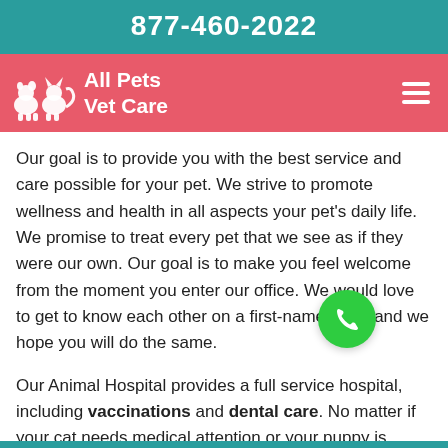877-460-2022
All Pets Vet Care
Our goal is to provide you with the best service and care possible for your pet. We strive to promote wellness and health in all aspects your pet's daily life. We promise to treat every pet that we see as if they were our own. Our goal is to make you feel welcome from the moment you enter our office. We would love to get to know each other on a first-name basis and we hope you will do the same.
Our Animal Hospital provides a full service hospital, including vaccinations and dental care. No matter if your cat needs medical attention or your puppy is suffering from an infection, our technicians and veterinarians can help.